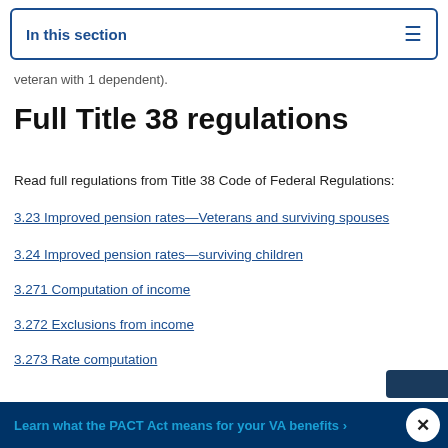In this section
veteran with 1 dependent).
Full Title 38 regulations
Read full regulations from Title 38 Code of Federal Regulations:
3.23 Improved pension rates—Veterans and surviving spouses
3.24 Improved pension rates—surviving children
3.271 Computation of income
3.272 Exclusions from income
3.273 Rate computation
Learn what the PACT Act means for your VA benefits ›